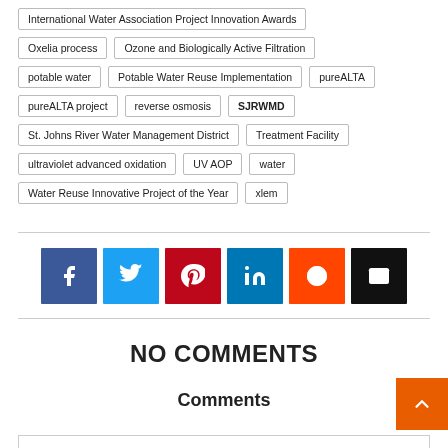International Water Association Project Innovation Awards
Oxelia process
Ozone and Biologically Active Filtration
potable water
Potable Water Reuse Implementation
pureALTA
pureALTA project
reverse osmosis
SJRWMD
St. Johns River Water Management District
Treatment Facility
ultraviolet advanced oxidation
UV AOP
water
Water Reuse Innovative Project of the Year
xlem
[Figure (infographic): Social share buttons: Facebook, Twitter, Pinterest, LinkedIn, Reddit, Email]
NO COMMENTS
Comments